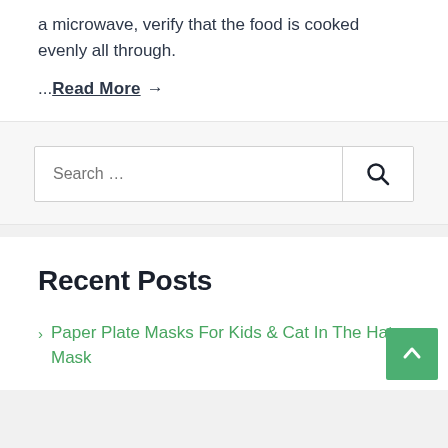a microwave, verify that the food is cooked evenly all through.
...Read More →
Search ...
Recent Posts
Paper Plate Masks For Kids & Cat In The Hat Mask